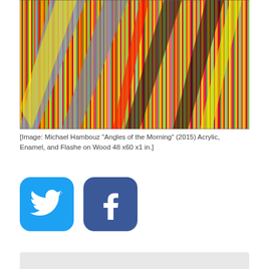[Figure (illustration): Abstract painting by Michael Hambouz titled 'Angles of the Morning' (2015), featuring dense vertical and diagonal colorful stripes in red, yellow, green, blue, pink, and other colors on wood.]
[Image: Michael Hambouz "Angles of the Morning" (2015) Acrylic, Enamel, and Flashe on Wood 48 x60 x1 in.]
[Figure (logo): Twitter social media icon - white bird on blue rounded square background]
[Figure (logo): Facebook social media icon - white 'f' on dark blue rounded square background]